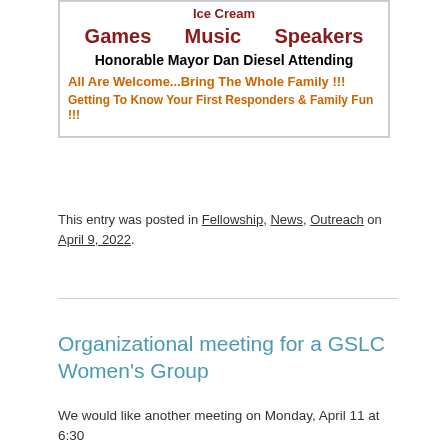[Figure (other): Flyer image showing event details with colored text: Ice Cream at top, Games Music Speakers in dark red, Honorable Mayor Dan Diesel Attending in black bold, All Are Welcome...Bring The Whole Family!!! and Getting To Know Your First Responders & Family Fun!!! in orange bold]
This entry was posted in Fellowship, News, Outreach on April 9, 2022.
Organizational meeting for a GSLC Women's Group
We would like another meeting on Monday, April 11 at 6:30